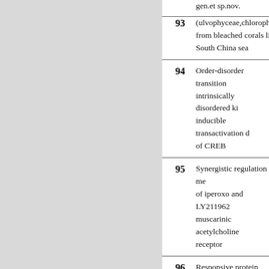| No. | Title |
| --- | --- |
| 93 | (ulvophyceae,chlorophyta from bleached corals living South China sea |
| 94 | Order-disorder transition intrinsically disordered ki inducible transactivation d of CREB |
| 95 | Synergistic regulation me of iperoxo and LY211962 muscarinic acetylcholine receptor |
| 96 | Responsive protein hydro assembled from spider sil |